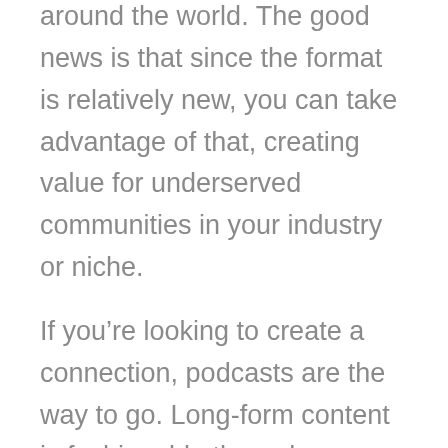around the world. The good news is that since the format is relatively new, you can take advantage of that, creating value for underserved communities in your industry or niche.
If you're looking to create a connection, podcasts are the way to go. Long-form content is fashionable through every type of media, and podcasting allows you to go deep into a subject. One of its main benefits is that your audience can enjoy them while they work out, drive, or while they are standing. I'll talk more about the subject next: